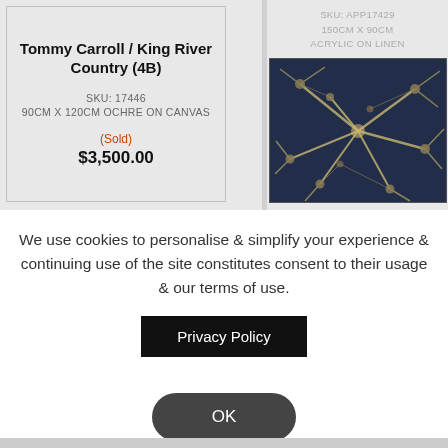Tommy Carroll / King River Country (4B)
SKU: 17446
90CM X 120CM OCHRE ON CANVAS
(Sold)
$3,500.00
SKU: APP17429
150CM X 90CM
ACRYLIC ON LINEN
[Figure (photo): Abstract painting with neural/neuron-like yellow branching patterns on a dark blue/grey textured background with circular nodes]
We use cookies to personalise & simplify your experience & continuing use of the site constitutes consent to their usage & our terms of use.
Privacy Policy
OK